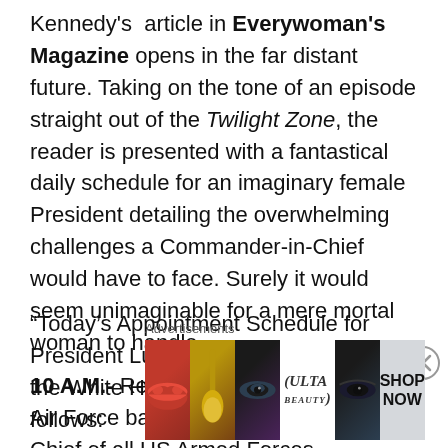Kennedy's article in Everywoman's Magazine opens in the far distant future. Taking on the tone of an episode straight out of the Twilight Zone, the reader is presented with a fantastical daily schedule for an imaginary female President detailing the overwhelming challenges a Commander-in-Chief would have to face. Surely it would seem unimaginable for a mere mortal woman to handle.
“Today’s Appointment Schedule for President Lucy R Jones as released by the White House Press Secretary, is as follows:
10 A.M.- Review troops at Andrews Air Force base as Commander-in-Chief of all US Armed Forces
12 Noon– Address US Chamber of Commerce on her
[Figure (illustration): Advertisement banner showing makeup-themed cosmetic images (lips, brush, eyes, Ulta beauty logo) with SHOP NOW text]